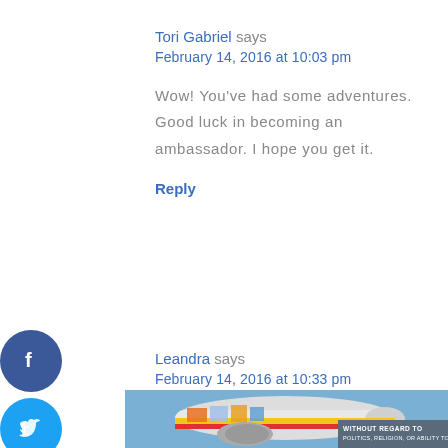Tori Gabriel says
February 14, 2016 at 10:03 pm
Wow! You've had some adventures. Good luck in becoming an ambassador. I hope you get it.
Reply
Leandra says
February 14, 2016 at 10:33 pm
[Figure (photo): Airplane being loaded with cargo, partial advertisement banner with text WITHOUT REGARD TO POLITICS, RELIGION, OR ABILITY TO PAY]